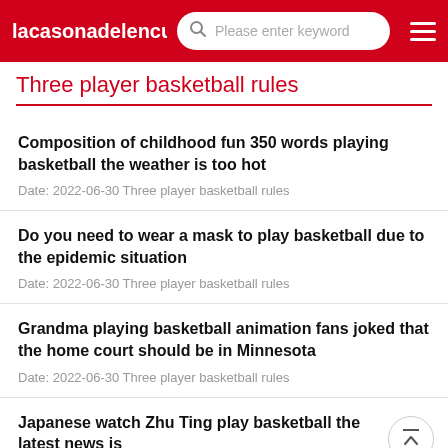lacasonadelencu  Please enter keyword
Three player basketball rules
Composition of childhood fun 350 words playing basketball the weather is too hot
Date: 2022-06-30  Three player basketball rules
Do you need to wear a mask to play basketball due to the epidemic situation
Date: 2022-06-30  Three player basketball rules
Grandma playing basketball animation fans joked that the home court should be in Minnesota
Date: 2022-06-30  Three player basketball rules
Japanese watch Zhu Ting play basketball the latest news is
Date: 2022-06-30  Three player basketball rules
Yangzhou is killed playing basketball